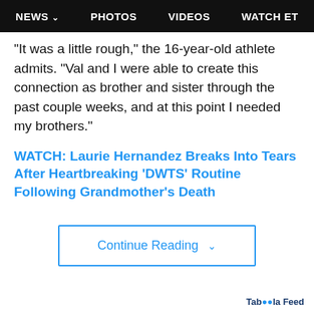NEWS  PHOTOS  VIDEOS  WATCH ET
"It was a little rough," the 16-year-old athlete admits. "Val and I were able to create this connection as brother and sister through the past couple weeks, and at this point I needed my brothers."
WATCH: Laurie Hernandez Breaks Into Tears After Heartbreaking 'DWTS' Routine Following Grandmother's Death
Continue Reading
Taboola Feed